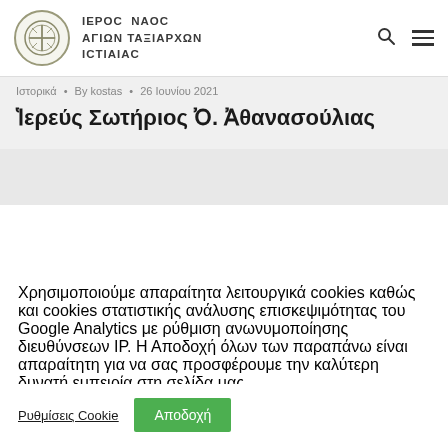ΙΕΡOC ΝΑOC ΑΓΙΩΝ ΤΑΞΙΑΡΧΩΝ ΙCΤΙΑΙΑC
Ιστορικά • By kostas • 26 Ιουνίου 2021
Ἱερεύς Σωτήριος Ὀ. Ἀθανασούλιας
[Figure (other): Grey placeholder content block]
Χρησιμοποιούμε απαραίτητα λειτουργικά cookies καθώς και cookies στατιστικής ανάλυσης επισκεψιμότητας του Google Analytics με ρύθμιση ανωνυμοποίησης διευθύνσεων IP. Η Αποδοχή όλων των παραπάνω είναι απαραίτητη για να σας προσφέρουμε την καλύτερη δυνατή εμπειρία στη σελίδα μας.
Ρυθμίσεις Cookie   Αποδοχή